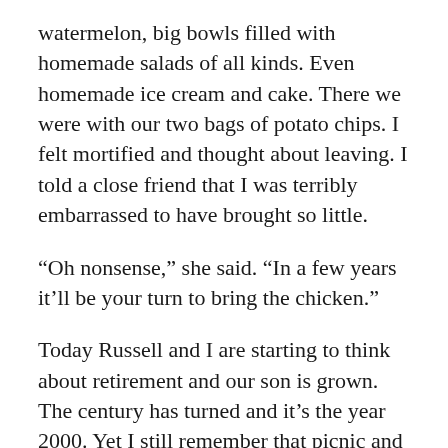watermelon, big bowls filled with homemade salads of all kinds. Even homemade ice cream and cake. There we were with our two bags of potato chips. I felt mortified and thought about leaving. I told a close friend that I was terribly embarrassed to have brought so little.
“Oh nonsense,” she said. “In a few years it’ll be your turn to bring the chicken.”
Today Russell and I are starting to think about retirement and our son is grown. The century has turned and it’s the year 2000. Yet I still remember that picnic and how our friends made us feel included and valued for who we were — not what we had.